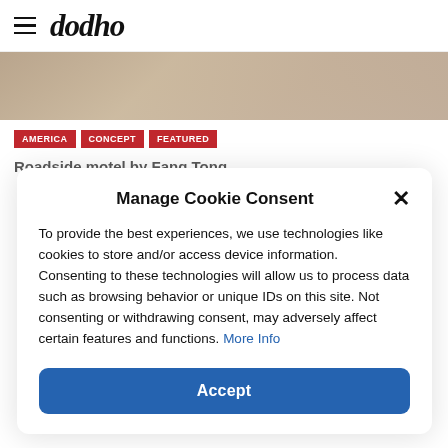dodho
[Figure (photo): Partial view of a roadside motel photo with warm beige/tan tones]
AMERICA
CONCEPT
FEATURED
Roadside motel by Fang Tong
Manage Cookie Consent
To provide the best experiences, we use technologies like cookies to store and/or access device information. Consenting to these technologies will allow us to process data such as browsing behavior or unique IDs on this site. Not consenting or withdrawing consent, may adversely affect certain features and functions. More Info